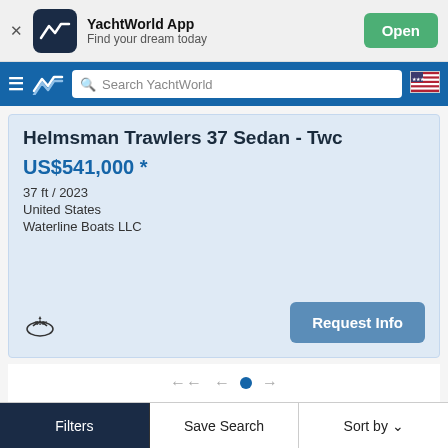[Figure (screenshot): YachtWorld App banner with logo icon, app name, tagline and Open button]
YachtWorld App – Find your dream today
[Figure (screenshot): YachtWorld navigation bar with hamburger menu, logo, search field and US flag]
Helmsman Trawlers 37 Sedan - Two
US$541,000 *
37 ft / 2023
United States
Waterline Boats LLC
Filters   Save Search   Sort by